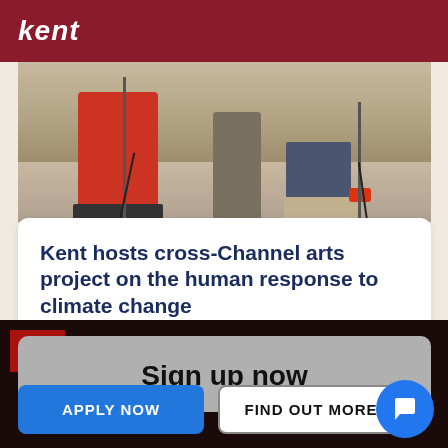kent
[Figure (photo): Performance or rehearsal scene showing legs and feet of multiple people standing, one in red outfit, one barefoot, one in jeans with white shoes and red sneakers, with microphone stands visible on a studio floor.]
Kent hosts cross-Channel arts project on the human response to climate change
Sign up now
APPLY NOW
FIND OUT MORE